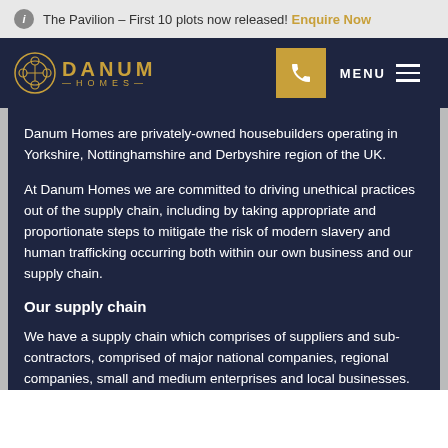The Pavilion – First 10 plots now released! Enquire Now
[Figure (logo): Danum Homes logo with decorative icon and stylized text]
Danum Homes are privately-owned housebuilders operating in Yorkshire, Nottinghamshire and Derbyshire region of the UK.
At Danum Homes we are committed to driving unethical practices out of the supply chain, including by taking appropriate and proportionate steps to mitigate the risk of modern slavery and human trafficking occurring both within our own business and our supply chain.
Our supply chain
We have a supply chain which comprises of suppliers and sub-contractors, comprised of major national companies, regional companies, small and medium enterprises and local businesses.